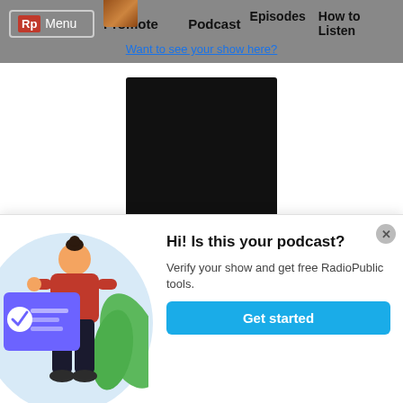Rp  Menu   Promote Your Podcast   Episodes   How to Listen
Want to see your show here?
[Figure (illustration): Black square podcast cover image for Course Correction podcast]
Course Correction
The UN estimates that there are 84 million forcibly displaced people around the world, and 27 million of those are considered refugees. These numbers are
[Figure (illustration): Popup widget: illustration of a woman standing next to a verification document with checkmark, green leaves background. Contains call-to-action: 'Hi! Is this your podcast? Verify your show and get free RadioPublic tools. Get started button.']
Hi! Is this your podcast?
Verify your show and get free RadioPublic tools.
Get started